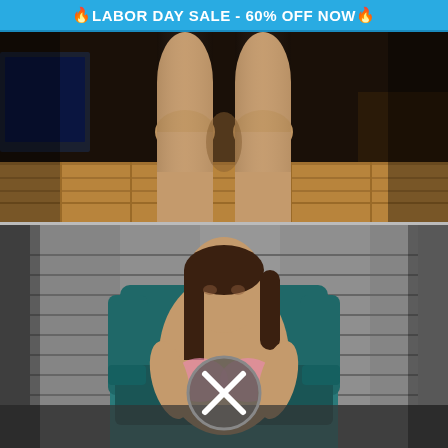🔥LABOR DAY SALE - 60% OFF NOW 🔥
[Figure (photo): Close-up photo of person's bare legs standing on a wooden floor with dark background]
[Figure (photo): Person sitting in a teal armchair with a close/dismiss button overlay in the center]